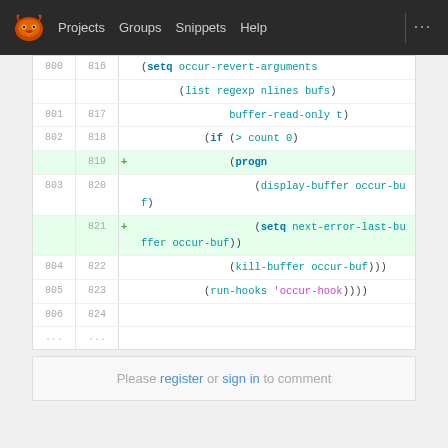GNU (logo) | Projects | Groups | Snippets | Help | ...
[Figure (screenshot): GitLab code diff viewer showing Emacs Lisp code diff, lines 800-806 (old) and 816-824 (new), with added lines 819 and 821 highlighted in green. Code includes setq occur-revert-arguments, list, buffer-read-only, if > count 0, progn, display-buffer occur-buf, setq next-error-last-buffer occur-buf, kill-buffer occur-buf, run-hooks occur-hook.]
Please register or sign in to comment